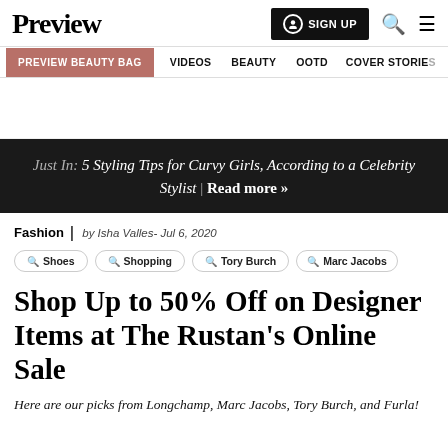Preview | SIGN UP
PREVIEW BEAUTY BAG  VIDEOS  BEAUTY  OOTD  COVER STORIES
Just In: 5 Styling Tips for Curvy Girls, According to a Celebrity Stylist | Read more »
Fashion | by Isha Valles- Jul 6, 2020
Shoes  Shopping  Tory Burch  Marc Jacobs
Shop Up to 50% Off on Designer Items at The Rustan's Online Sale
Here are our picks from Longchamp, Marc Jacobs, Tory Burch, and Furla!